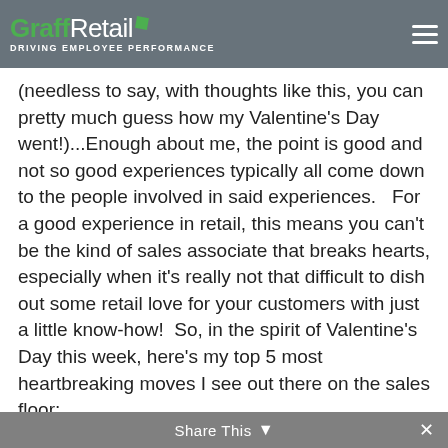GraffRetail – Driving Employee Performance (navigation bar)
(needless to say, with thoughts like this, you can pretty much guess how my Valentine's Day went!)...Enough about me, the point is good and not so good experiences typically all come down to the people involved in said experiences.   For a good experience in retail, this means you can't be the kind of sales associate that breaks hearts, especially when it's really not that difficult to dish out some retail love for your customers with just a little know-how!  So, in the spirit of Valentine's Day this week, here's my top 5 most heartbreaking moves I see out there on the sales floor:
Heartbreaker #1: The Disa-POINT-er
This is a real classic move.  We've all seen it
Share This ∨  ✕